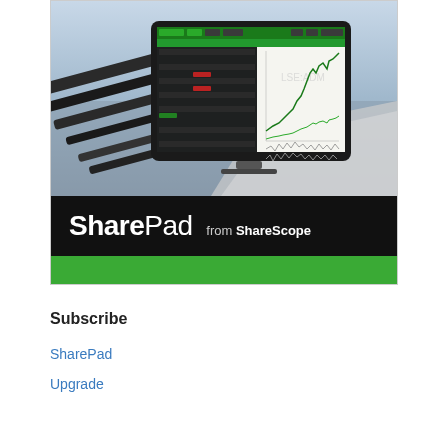[Figure (screenshot): Advertisement banner for SharePad from ShareScope. Top portion shows a photo of a sailing boat deck with a computer monitor displaying a stock market trading platform with charts and data tables (showing LSE:ADM stock chart). Below is a black bar with the SharePad logo in white text reading 'SharePad from ShareScope', and a green bar at the bottom.]
Subscribe
SharePad
Upgrade